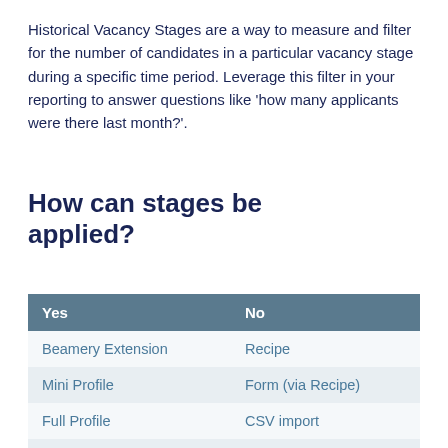Historical Vacancy Stages are a way to measure and filter for the number of candidates in a particular vacancy stage during a specific time period. Leverage this filter in your reporting to answer questions like 'how many applicants were there last month?'.
How can stages be applied?
| Yes | No |
| --- | --- |
| Beamery Extension | Recipe |
| Mini Profile | Form (via Recipe) |
| Full Profile | CSV import |
| ATS integration |  |